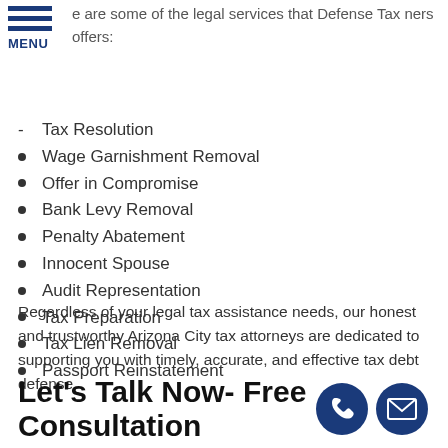e are some of the legal services that Defense Tax ners offers:
Tax Resolution
Wage Garnishment Removal
Offer in Compromise
Bank Levy Removal
Penalty Abatement
Innocent Spouse
Audit Representation
Tax Preparation
Tax Lien Removal
Passport Reinstatement
Regardless of your legal tax assistance needs, our honest and trustworthy Arizona City tax attorneys are dedicated to supporting you with timely, accurate, and effective tax debt defense.
Let's Talk Now- Free Consultation